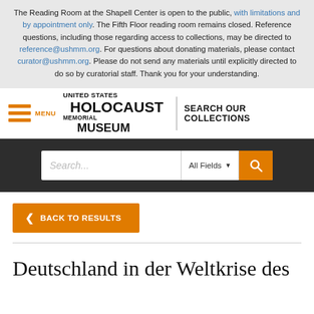The Reading Room at the Shapell Center is open to the public, with limitations and by appointment only. The Fifth Floor reading room remains closed. Reference questions, including those regarding access to collections, may be directed to reference@ushmm.org. For questions about donating materials, please contact curator@ushmm.org. Please do not send any materials until explicitly directed to do so by curatorial staff. Thank you for your understanding.
[Figure (logo): United States Holocaust Memorial Museum logo with hamburger menu icon and SEARCH OUR COLLECTIONS text]
[Figure (screenshot): Search bar with placeholder text 'Search...', All Fields dropdown, and orange search button]
< BACK TO RESULTS
Deutschland in der Weltkrise des